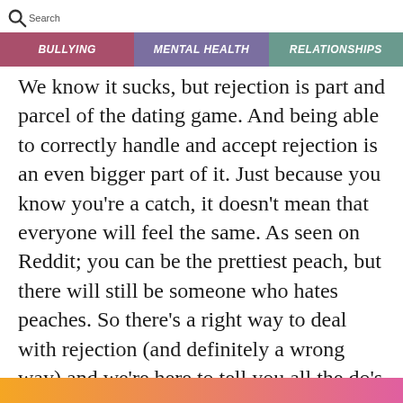Search | BULLYING | MENTAL HEALTH | RELATIONSHIPS
We know it sucks, but rejection is part and parcel of the dating game. And being able to correctly handle and accept rejection is an even bigger part of it. Just because you know you’re a catch, it doesn’t mean that everyone will feel the same. As seen on Reddit; you can be the prettiest peach, but there will still be someone who hates peaches. So there’s a right way to deal with rejection (and definitely a wrong way) and we’re here to tell you all the do’s and don’ts of receiving a ‘no’.
[Figure (other): Gradient bar at bottom of page, orange to pink/magenta]